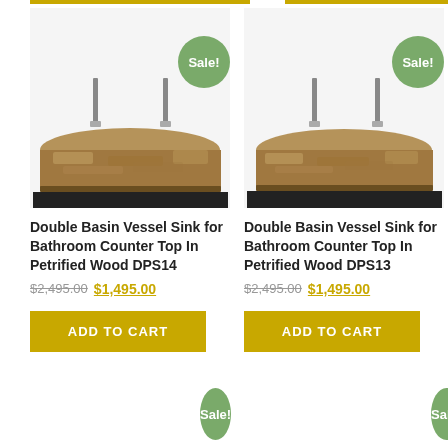[Figure (photo): Double Basin Vessel Sink for Bathroom Counter Top In Petrified Wood DPS14 - product photo showing rectangular petrified wood sink with two faucet holes]
Double Basin Vessel Sink for Bathroom Counter Top In Petrified Wood DPS14
$2,495.00 $1,495.00
ADD TO CART
[Figure (photo): Double Basin Vessel Sink for Bathroom Counter Top In Petrified Wood DPS13 - product photo showing rectangular petrified wood sink with two faucet holes]
Double Basin Vessel Sink for Bathroom Counter Top In Petrified Wood DPS13
$2,495.00 $1,495.00
ADD TO CART